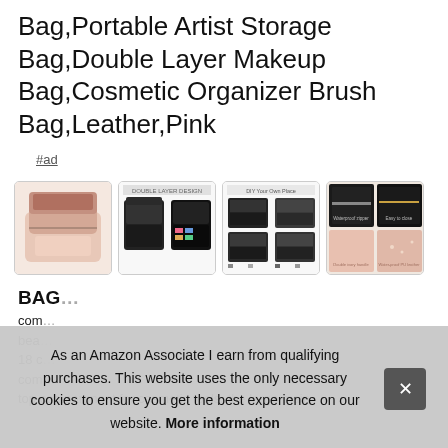Bag,Portable Artist Storage Bag,Double Layer Makeup Bag,Cosmetic Organizer Brush Bag,Leather,Pink
#ad
[Figure (photo): Four product thumbnail images of a pink leather double layer makeup organizer bag showing different views and features]
BAG...
com... bea... 18 c... com... top compartment for cosmetic tools, the large main
As an Amazon Associate I earn from qualifying purchases. This website uses the only necessary cookies to ensure you get the best experience on our website. More information